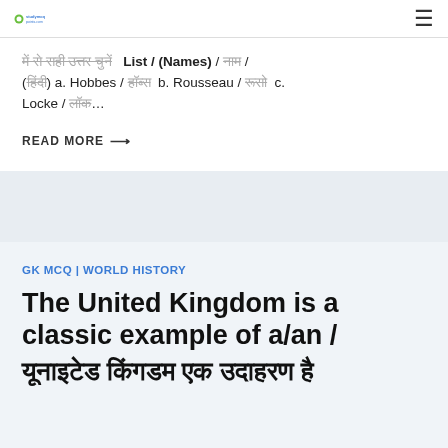studymcqpoints.com [logo] ≡
... List / (Names) / ... (हिंदी) a. Hobbes / हॉब्स b. Rousseau / रूसो c. Locke / लॉक…
READ MORE →
GK MCQ | WORLD HISTORY
The United Kingdom is a classic example of a/an / यूनाइटेड किंगडम एक उदाहरण है